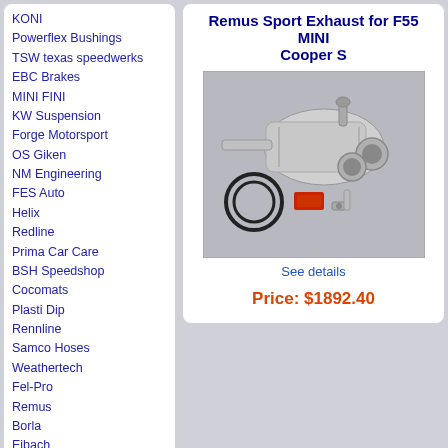KONI
Powerflex Bushings
TSW texas speedwerks
EBC Brakes
MINI FINI
KW Suspension
Forge Motorsport
OS Giken
NM Engineering
FES Auto
Helix
Redline
Prima Car Care
BSH Speedshop
Cocomats
Plasti Dip
Rennline
Samco Hoses
Weathertech
Fel-Pro
Remus
Borla
Eibach
Quicksilver
Dinan
Airtec
Special
Gift certificates
Remus Sport Exhaust for F55 MINI Cooper S
[Figure (photo): Remus sport exhaust system components including muffler and dual pipes on grey background]
See details
Price: $1892.40